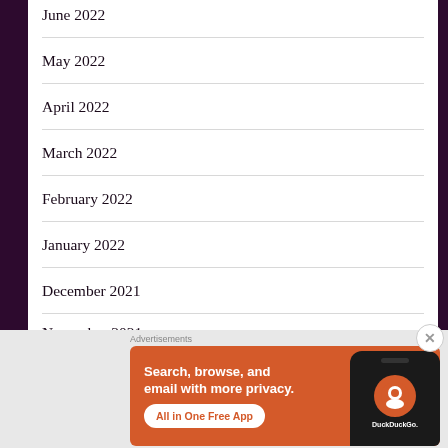June 2022
May 2022
April 2022
March 2022
February 2022
January 2022
December 2021
November 2021
[Figure (screenshot): DuckDuckGo advertisement banner with orange background. Text: 'Search, browse, and email with more privacy. All in One Free App'. Shows a smartphone with DuckDuckGo logo.]